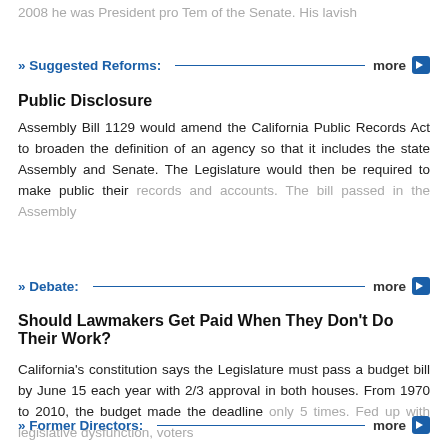2008 he was President pro Tem of the Senate. His lavish
» Suggested Reforms:  more
Public Disclosure
Assembly Bill 1129 would amend the California Public Records Act to broaden the definition of an agency so that it includes the state Assembly and Senate. The Legislature would then be required to make public their records and accounts. The bill passed in the Assembly
» Debate:  more
Should Lawmakers Get Paid When They Don't Do Their Work?
California's constitution says the Legislature must pass a budget bill by June 15 each year with 2/3 approval in both houses. From 1970 to 2010, the budget made the deadline only 5 times. Fed up with legislative dysfunction, voters
» Former Directors:  more